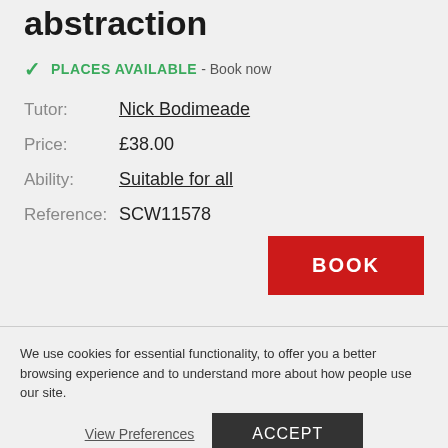abstraction
PLACES AVAILABLE - Book now
Tutor: Nick Bodimeade
Price: £38.00
Ability: Suitable for all
Reference: SCW11578
BOOK
We use cookies for essential functionality, to offer you a better browsing experience and to understand more about how people use our site.
View Preferences
ACCEPT